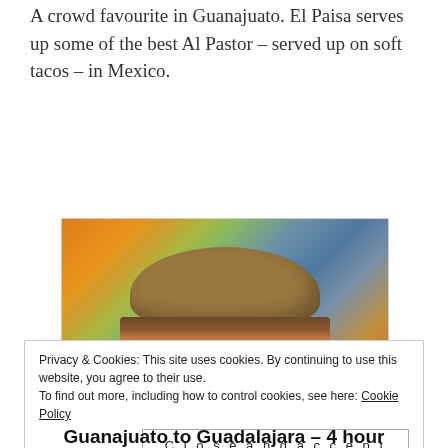A crowd favourite in Guanajuato. El Paisa serves up some of the best Al Pastor – served up on soft tacos – in Mexico.
[Figure (photo): A torta sandwich (Tortas de Carnitas) with a seeded bun filled with meat, served on a blue/white paper wrapper on an orange table with colorful chairs in the background.]
Tortas de Carnitas
Privacy & Cookies: This site uses cookies. By continuing to use this website, you agree to their use.
To find out more, including how to control cookies, see here: Cookie Policy
Close and accept
Guanajuato to Guadalajara – 4 hour